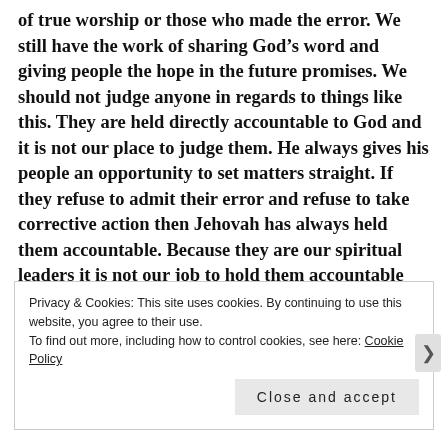of true worship or those who made the error. We still have the work of sharing God's word and giving people the hope in the future promises. We should not judge anyone in regards to things like this. They are held directly accountable to God and it is not our place to judge them. He always gives his people an opportunity to set matters straight. If they refuse to admit their error and refuse to take corrective action then Jehovah has always held them accountable. Because they are our spiritual leaders it is not our job to hold them accountable they are held accountable by God
Privacy & Cookies: This site uses cookies. By continuing to use this website, you agree to their use. To find out more, including how to control cookies, see here: Cookie Policy
Close and accept